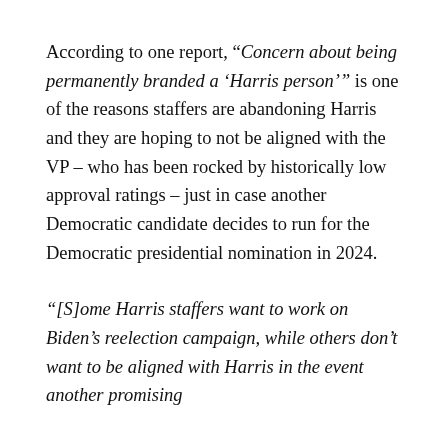According to one report, “Concern about being permanently branded a ‘Harris person’” is one of the reasons staffers are abandoning Harris and they are hoping to not be aligned with the VP – who has been rocked by historically low approval ratings – just in case another Democratic candidate decides to run for the Democratic presidential nomination in 2024.
“[S]ome Harris staffers want to work on Biden’s reelection campaign, while others don’t want to be aligned with Harris in the event another promising